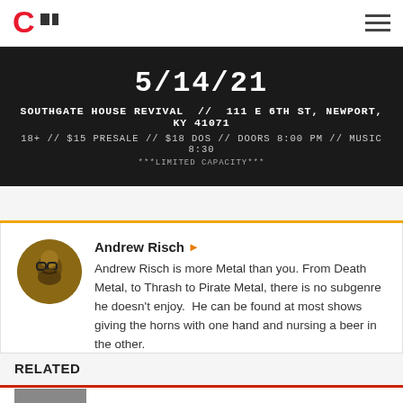CII [logo] [hamburger menu]
[Figure (other): Event banner with dark background showing date 5/14/21, venue Southgate House Revival // 111 E 6th St, Newport, KY 41071, 18+ // $15 Presale // $18 DOS // Doors 8:00 PM // Music 8:30, ***Limited Capacity***]
Andrew Risch ▶
Andrew Risch is more Metal than you. From Death Metal, to Thrash to Pirate Metal, there is no subgenre he doesn't enjoy.  He can be found at most shows giving the horns with one hand and nursing a beer in the other.
RELATED